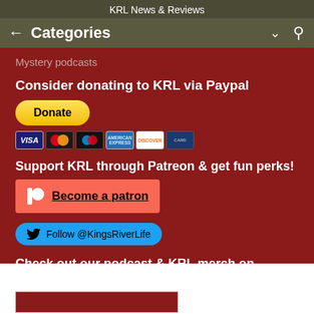KRL News & Reviews
Categories
Mystery podcasts
Consider donating to KRL via Paypal
[Figure (other): PayPal Donate button with payment card icons (Visa, Mastercard, Maestro, American Express, Discover, and another card)]
Support KRL through Patreon & get fun perks!
[Figure (other): Patreon button with logo and text 'Become a patron']
[Figure (other): Twitter follow button with text 'Follow @KingsRiverLife']
Check out our podcast & KRL merch on RedBubble
[Figure (other): RedBubble product image placeholder (partially visible)]